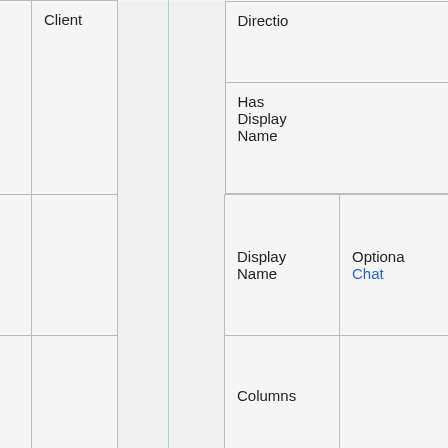|  | 0x26 | Play | Client |  | Direction / Has Display Name |  |
| --- | --- | --- | --- | --- | --- | --- |
|  |  |  |  | Direction |  |
|  |  |  |  | Has Display Name |  |
|  |  |  |  | Display Name | Optional Chat |
|  |  |  |  | Columns |  |
|  |  |  |  | Rows |  |